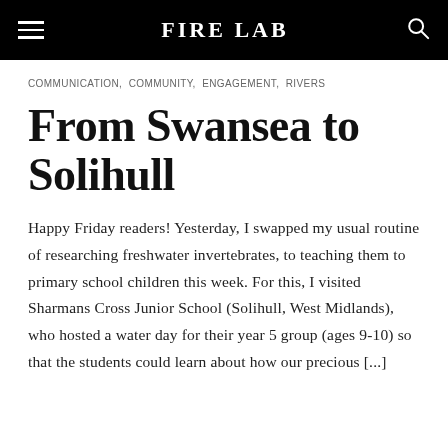FIRE LAB
COMMUNICATION, COMMUNITY, ENGAGEMENT, RIVERS
From Swansea to Solihull
Happy Friday readers! Yesterday, I swapped my usual routine of researching freshwater invertebrates, to teaching them to primary school children this week. For this, I visited Sharmans Cross Junior School (Solihull, West Midlands), who hosted a water day for their year 5 group (ages 9-10) so that the students could learn about how our precious [...]